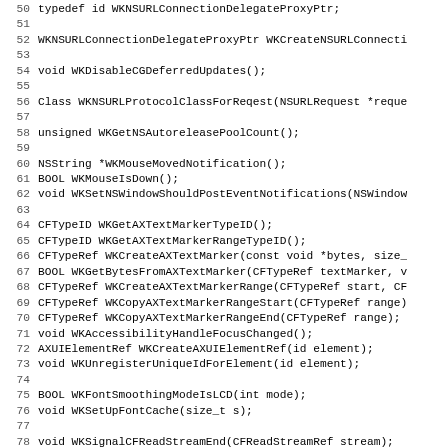[Figure (screenshot): Source code listing showing C/Objective-C function declarations for WebKit internal APIs, line numbers 50-82, monospace font on white background. Lines include WKNSURLConnectionDelegateProxyPtr, WKCreateNSURLConnecti..., WKDisableCGDeferredUpdates, WKNSURLProtocolClassForReqest, WKGetNSAutoreleasePoolCount, WKMouseMovedNotification, WKMouseIsDown, WKSetNSWindowShouldPostEventNotifications, WKGetAXTextMarkerTypeID, WKGetAXTextMarkerRangeTypeID, WKCreateAXTextMarker, WKGetBytesFromAXTextMarker, WKCreateAXTextMarkerRange, WKCopyAXTextMarkerRangeStart, WKCopyAXTextMarkerRangeEnd, WKAccessibilityHandleFocusChanged, WKCreateAXUIElementRef, WKUnregisterUniqueIdForElement, WKFontSmoothingModeIsLCD, WKSetUpFontCache, WKSignalCFReadStreamEnd, WKSignalCFReadStreamHasBytes, WKSignalCFReadStreamError, WKCreateCustomCFReadStream.]